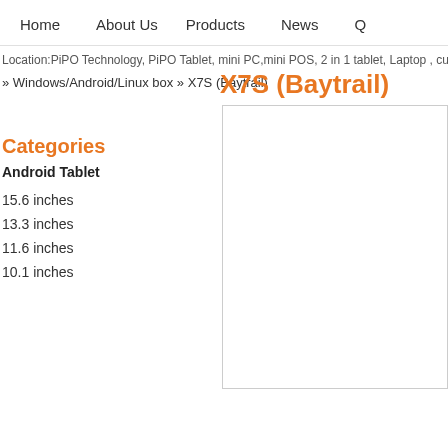Home   About Us   Products   News   Q
Location:PiPO Technology, PiPO Tablet, mini PC,mini POS, 2 in 1 tablet, Laptop , cu
» Windows/Android/Linux box » X7S (Baytrail)
X7S (Baytrail)
Categories
Android Tablet
15.6 inches
13.3 inches
11.6 inches
10.1 inches